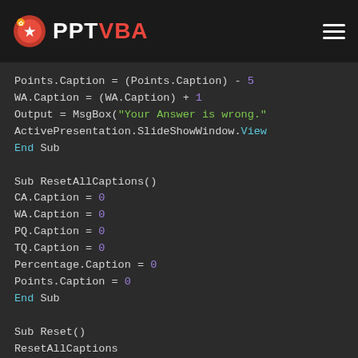PPT VBA
Points.Caption = (Points.Caption) - 5
WA.Caption = (WA.Caption) + 1
Output = MsgBox("Your Answer is wrong."
ActivePresentation.SlideShowWindow.View
End Sub

Sub ResetAllCaptions()
CA.Caption = 0
WA.Caption = 0
PQ.Caption = 0
TQ.Caption = 0
Percentage.Caption = 0
Points.Caption = 0
End Sub

Sub Reset()
ResetAllCaptions